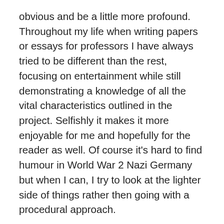obvious and be a little more profound. Throughout my life when writing papers or essays for professors I have always tried to be different than the rest, focusing on entertainment while still demonstrating a knowledge of all the vital characteristics outlined in the project. Selfishly it makes it more enjoyable for me and hopefully for the reader as well. Of course it's hard to find humour in World War 2 Nazi Germany but when I can, I try to look at the lighter side of things rather then going with a procedural approach.
I also love music and in most cases the songs I selected for my blog posts fit the theme of the novel or the overall feeling I had, but I will admit that in some cases I have made them fit because I love the song or wanted to cleverly include some guilty pleasures. If you have any requests let me